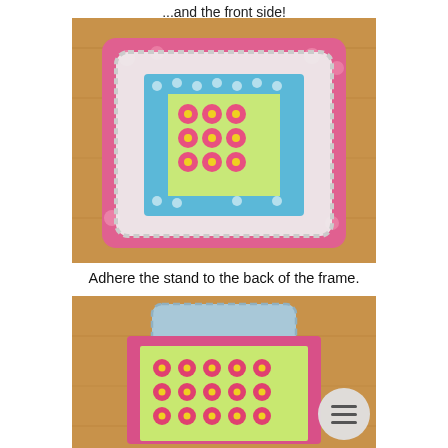...and the front side!
[Figure (photo): Photo of a decorative handmade picture frame from the front. The frame is covered in blue polka-dot fabric and sits on a pink floral fabric layer, on top of a white doily, all resting on a wooden surface. The center of the frame shows green and pink floral patterned paper.]
Adhere the stand to the back of the frame.
[Figure (photo): Photo showing the back of a handmade picture frame. A blue scallop-edged chipboard stand piece is visible at the top, with layers of patterned fabric/paper below it showing the back assembly on a wooden surface. A circular menu button icon is visible in the lower right.]